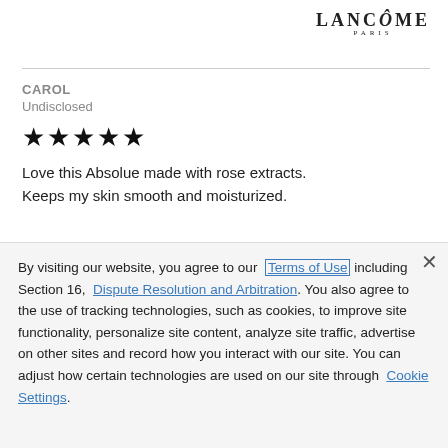LANCÔME PARIS
CAROL
Undisclosed
★★★★★
Love this Absolue made with rose extracts. Keeps my skin smooth and moisturized.
By visiting our website, you agree to our Terms of Use including Section 16, Dispute Resolution and Arbitration. You also agree to the use of tracking technologies, such as cookies, to improve site functionality, personalize site content, analyze site traffic, advertise on other sites and record how you interact with our site. You can adjust how certain technologies are used on our site through Cookie Settings.